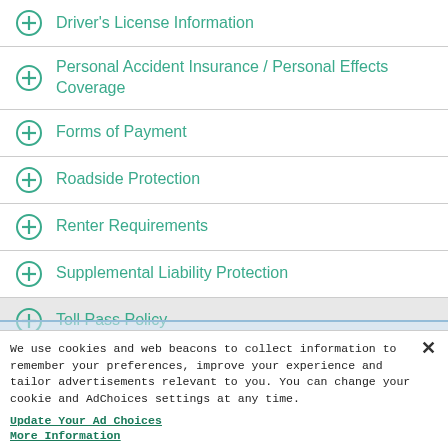Driver's License Information
Personal Accident Insurance / Personal Effects Coverage
Forms of Payment
Roadside Protection
Renter Requirements
Supplemental Liability Protection
Toll Pass Policy
We use cookies and web beacons to collect information to remember your preferences, improve your experience and tailor advertisements relevant to you. You can change your cookie and AdChoices settings at any time.
Update Your Ad Choices
More Information
Manage Your Settings